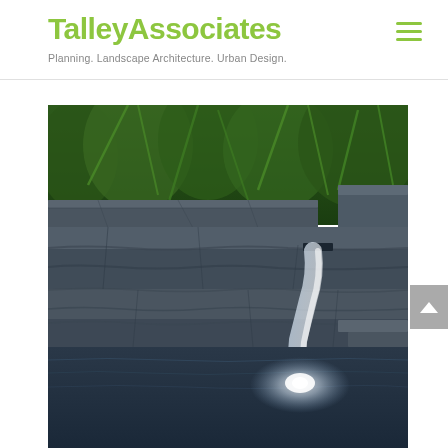TalleyAssociates — Planning. Landscape Architecture. Urban Design.
[Figure (photo): Landscape architecture water feature: a stone retaining wall with a waterfall spout pouring water into a pool below, surrounded by lush green tropical plants/bamboo in the background. The stonework is dark gray/blue granite. A bright light illuminates the water at the base of the fall.]